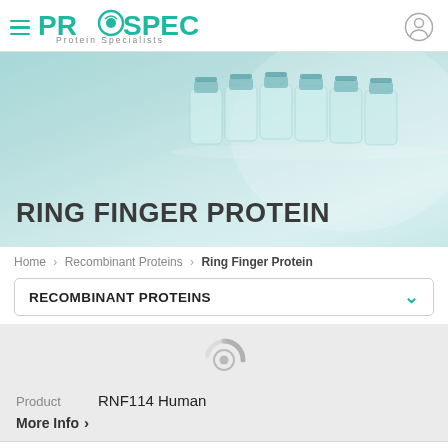PROSPEC Protein Specialists
[Figure (photo): Hero banner with lab vials/bottles on teal/mint background with text RING FINGER PROTEIN]
RING FINGER PROTEIN
Home > Recombinant Proteins > Ring Finger Protein
RECOMBINANT PROTEINS
[Figure (other): Loading spinner icon]
Product  RNF114 Human
More Info >
Description  Ring Finger Protein 114 Human Recombinant